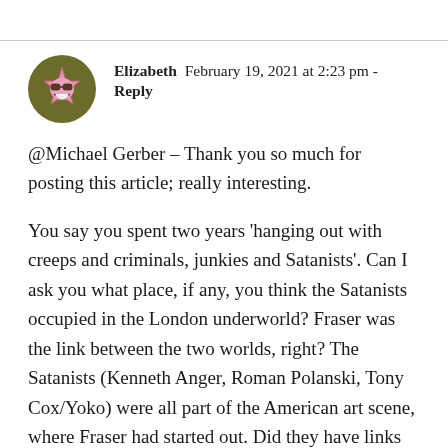[Figure (illustration): Circular avatar with dark olive/yellow-green background showing a cartoon pink star-shaped character with sunglasses and a grinning expression]
Elizabeth  February 19, 2021 at 2:23 pm - Reply
@Michael Gerber – Thank you so much for posting this article; really interesting.
You say you spent two years 'hanging out with creeps and criminals, junkies and Satanists'. Can I ask you what place, if any, you think the Satanists occupied in the London underworld? Fraser was the link between the two worlds, right? The Satanists (Kenneth Anger, Roman Polanski, Tony Cox/Yoko) were all part of the American art scene, where Fraser had started out. Did they have links to the Krays via Fraser?